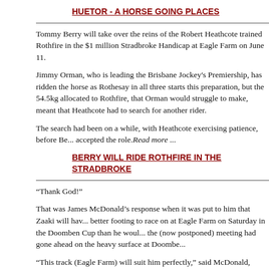HUETOR - A HORSE GOING PLACES
Tommy Berry will take over the reins of the Robert Heathcote trained Rothfire in the $1 million Stradbroke Handicap at Eagle Farm on June 11.
Jimmy Orman, who is leading the Brisbane Jockey's Premiership, has ridden the horse as Rothesay in all three starts this preparation, but the 54.5kg allocated to Rothfire, that Orman would struggle to make, meant that Heathcote had to search for another rider.
The search had been on a while, with Heathcote exercising patience, before Berry accepted the role. Read more ...
BERRY WILL RIDE ROTHFIRE IN THE STRADBROKE
“Thank God!”
That was James McDonald’s response when it was put to him that Zaaki will have better footing to race on at Eagle Farm on Saturday in the Doomben Cup than he would have had the (now postponed) meeting had gone ahead on the heavy surface at Doomben.
“This track (Eagle Farm) will suit him perfectly,” said McDonald, talking to Sky Ra... after Zaaki’s track gallop at Eagle Farm on Tuesday.
“Annabel (Neasham) has brought him here three times now. He is very familiar with it. It was great to get him back on it today. It is obviously a nice, safe surface and he went an extremely good morning.
“I was very with happy with him. He wasn’t out to do a hell of a lot. He just cruise...